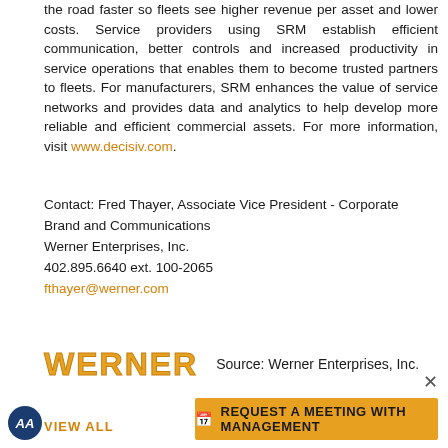the road faster so fleets see higher revenue per asset and lower costs. Service providers using SRM establish efficient communication, better controls and increased productivity in service operations that enables them to become trusted partners to fleets. For manufacturers, SRM enhances the value of service networks and provides data and analytics to help develop more reliable and efficient commercial assets. For more information, visit www.decisiv.com.
Contact: Fred Thayer, Associate Vice President - Corporate Brand and Communications
Werner Enterprises, Inc.
402.895.6640 ext. 100-2065
fthayer@werner.com
[Figure (logo): Werner Enterprises logo in bold orange text]
Source: Werner Enterprises, Inc.
VIEW ALL
REQUEST A MEETING WITH MANAGEMENT